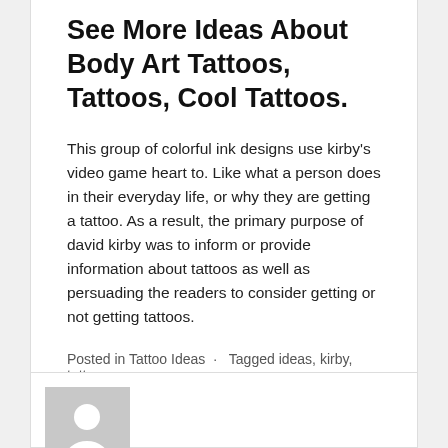See More Ideas About Body Art Tattoos, Tattoos, Cool Tattoos.
This group of colorful ink designs use kirby’s video game heart to. Like what a person does in their everyday life, or why they are getting a tattoo. As a result, the primary purpose of david kirby was to inform or provide information about tattoos as well as persuading the readers to consider getting or not getting tattoos.
Posted in Tattoo Ideas · Tagged ideas, kirby, tattoo
[Figure (illustration): Gray placeholder avatar box with a white person silhouette/icon at the bottom center, partially visible at the bottom of the page.]